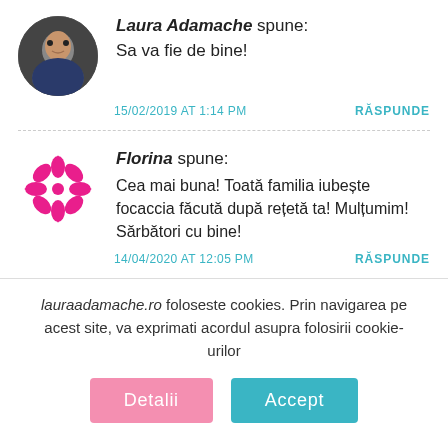[Figure (photo): Circular avatar photo of Laura Adamache, a woman with dark hair]
Laura Adamache spune:
Sa va fie de bine!
15/02/2019 AT 1:14 PM
RĂSPUNDE
[Figure (logo): Pink decorative flower/snowflake logo for Florina]
Florina spune:
Cea mai buna! Toată familia iubește focaccia făcută după rețetă ta! Mulțumim! Sărbători cu bine!
14/04/2020 AT 12:05 PM
RĂSPUNDE
lauraadamache.ro foloseste cookies. Prin navigarea pe acest site, va exprimati acordul asupra folosirii cookie-urilor
Detalii
Accept